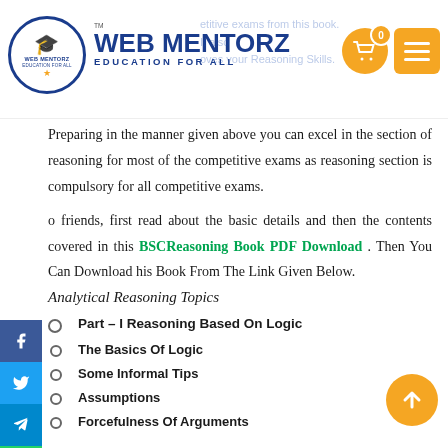WEB MENTORZ — EDUCATION FOR ALL
Preparing in the manner given above you can excel in the section of reasoning for most of the competitive exams as reasoning section is compulsory for all competitive exams.
o friends, first read about the basic details and then the contents covered in this BSCReasoning Book PDF Download . Then You Can Download his Book From The Link Given Below.
Analytical Reasoning Topics
Part – I Reasoning Based On Logic
The Basics Of Logic
Some Informal Tips
Assumptions
Forcefulness Of Arguments